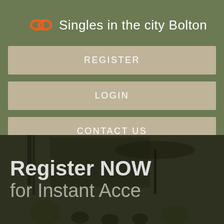Singles in the city Bolton
REGISTER
LOGIN
CONTACT US
[Figure (photo): Background photo of an outdoor restaurant/bar patio area with plants, umbrellas, and seating. Overlaid text reads 'Register NOW for Instant Acce' (truncated).]